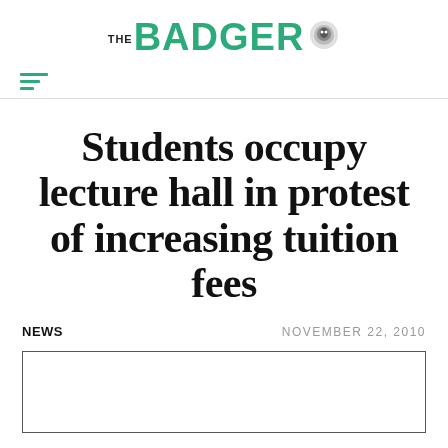THE BADGER
Students occupy lecture hall in protest of increasing tuition fees
NEWS
NOVEMBER 22, 2010
[Figure (photo): Empty white image box, border visible]